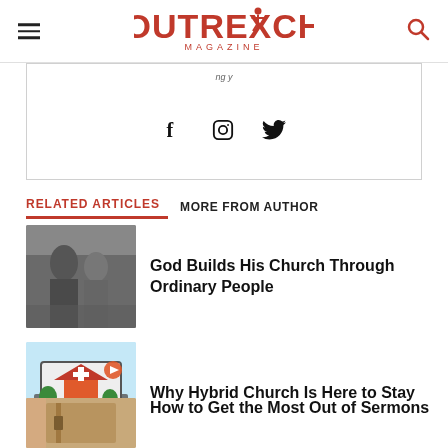Outreach Magazine
[Figure (other): Author box with social media icons (Facebook, Instagram, Twitter) and partial text at top]
RELATED ARTICLES   MORE FROM AUTHOR
God Builds His Church Through Ordinary People
Why Hybrid Church Is Here to Stay
How to Get the Most Out of Sermons